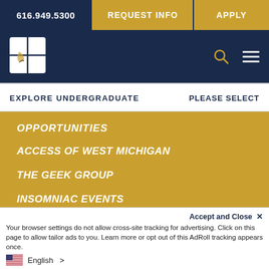616.949.5300 | REQUEST INFO | APPLY
[Figure (logo): University logo - white square divided into 4 quadrants with leaf/plant design]
EXPLORE UNDERGRADUATE
PLEASE SELECT
OPPORTUNITIES
ACCESS OF WEST MICHIGAN
THE GEEK GROUP
INSOMNIAC EVENTS
JOHN'S AUDIO VIDEO, LLC
91.3 WCSG
Accept and Close ✕
Your browser settings do not allow cross-site tracking for advertising. Click on this page to allow tailor ads to you. Learn more or opt out of this AdRoll tracking appears once.
English >